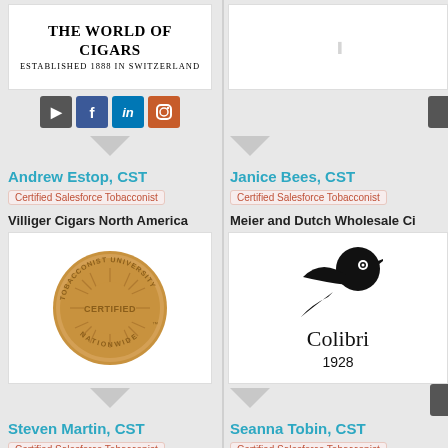[Figure (logo): The World of Cigars logo - established 1888 in Switzerland]
[Figure (infographic): Social media icons: cursor, Facebook, LinkedIn, Instagram]
Andrew Estop, CST
Certified Salesforce Tobacconist
Villiger Cigars North America
Miami, FL - United States
GET DIRECTIONS
[Figure (other): Partial logo on right side (cropped)]
Janice Bees, CST
Certified Salesforce Tobacconist
Meier and Dutch Wholesale Cigar Distributors
Bethlehem, PA - United States
P: (888) 872-4427
GET DIRECTIONS
[Figure (logo): Certified Tobacconist University coin seal]
[Figure (logo): Colibri 1928 logo with hummingbird]
Steven Martin, CST
Certified Salesforce Tobacconist
Seanna Tobin, CST
Certified Salesforce Tobacconist